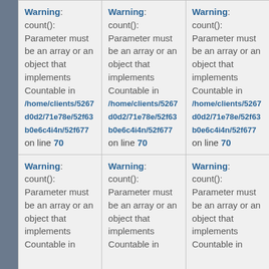Warning: count(): Parameter must be an array or an object that implements Countable in /home/clients/52678... on line 70
Warning: count(): Parameter must be an array or an object that implements Countable in /home/clients/52678... on line 70
Warning: count(): Parameter must be an array or an object that implements Countable in /home/clients/52678... on line 70
Warning: count(): Parameter must be an array or an object that implements Countable in /home/clients/52678... on line 70
Warning: count(): Parameter must be an array or an object that implements Countable in /home/clients/52678... on line 70
Warning: count(): Parameter must be an array or an object that implements Countable in /home/clients/52678...